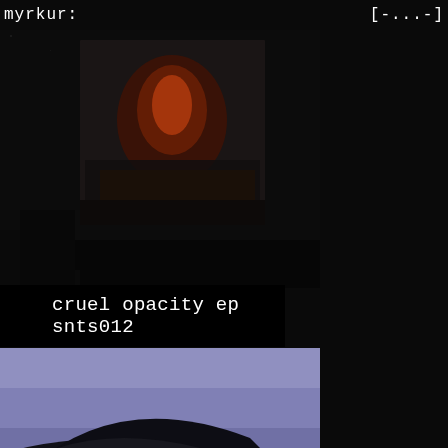myrkur:  [-...-]
[Figure (photo): Dark moody photograph showing what appears to be a reddish-orange industrial or mechanical scene against a very dark near-black background]
cruel opacity ep snts012
[Figure (photo): A dark black car photographed from a low angle against a purple/blue sky, showing the front-side profile with wheel details visible]